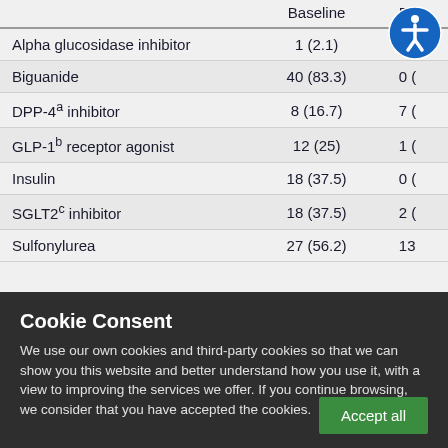|  | Baseline | D... |
| --- | --- | --- |
| Alpha glucosidase inhibitor | 1 (2.1) |  |
| Biguanide | 40 (83.3) | 0 ( |
| DPP-4a inhibitor | 8 (16.7) | 7 ( |
| GLP-1b receptor agonist | 12 (25) | 1 ( |
| Insulin | 18 (37.5) | 0 ( |
| SGLT2c inhibitor | 18 (37.5) | 2 ( |
| Sulfonylurea | 27 (56.2) | 13 |
Cookie Consent
We use our own cookies and third-party cookies so that we can show you this website and better understand how you use it, with a view to improving the services we offer. If you continue browsing, we consider that you have accepted the cookies.